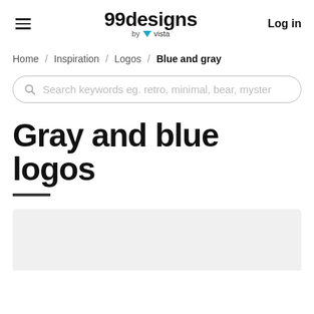99designs by vista  Log in
Home / Inspiration / Logos / Blue and gray
Search keywords eg. retro, minimal, bear, myster
Gray and blue logos
[Figure (other): Gray rounded rectangle panel at bottom of page, partially visible]